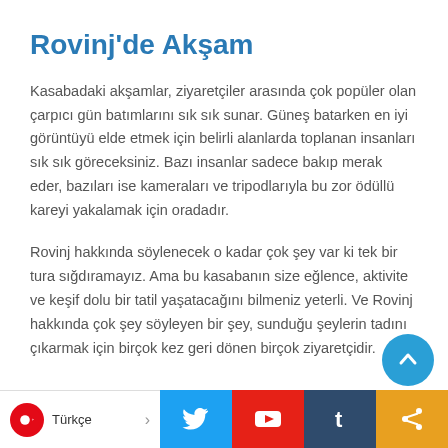Rovinj'de Akşam
Kasabadaki akşamlar, ziyaretçiler arasında çok popüler olan çarpıcı gün batımlarını sık sık sunar. Güneş batarken en iyi görüntüyü elde etmek için belirli alanlarda toplanan insanları sık sık göreceksiniz. Bazı insanlar sadece bakıp merak eder, bazıları ise kameraları ve tripodlarıyla bu zor ödüllü kareyi yakalamak için oradadır.
Rovinj hakkında söylenecek o kadar çok şey var ki tek bir tura sığdıramayız. Ama bu kasabanın size eğlence, aktivite ve keşif dolu bir tatil yaşatacağını bilmeniz yeterli. Ve Rovinj hakkında çok şey söyleyen bir şey, sunduğu şeylerin tadını çıkarmak için birçok kez geri dönen birçok ziyaretçidir.
Türkçe >